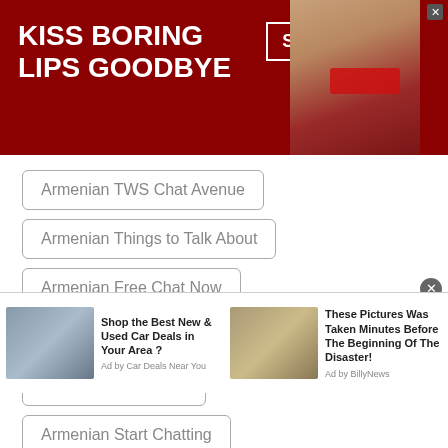[Figure (screenshot): Macy's advertisement banner with red background, woman's face with red lips, 'KISS BORING LIPS GOODBYE' text, 'SHOP NOW' button, and Macy's star logo]
Armenian TWS Chat Avenue
Armenian Things to Talk About
Armenian Free Chat Now
Armenian Chat with Friends
Armenian Talk to Me
Armenian Start Chatting
Armenian Talk to Strangers Online
[Figure (screenshot): Two bottom advertisement tiles: 'Shop the Best New & Used Car Deals in Your Area?' by Car Deals Near You, and 'These Pictures Was Taken Minutes Before The Beginning Of The Disaster!' by BillyNews]